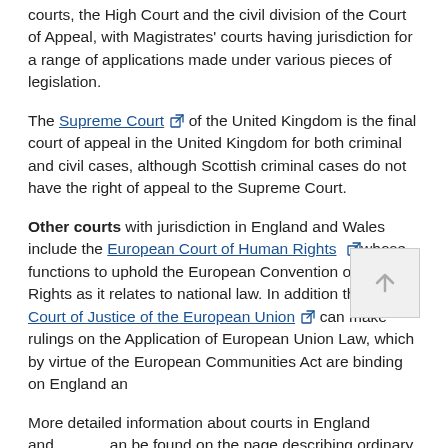courts, the High Court and the civil division of the Court of Appeal, with Magistrates' courts having jurisdiction for a range of applications made under various pieces of legislation.
The Supreme Court [external link] of the United Kingdom is the final court of appeal in the United Kingdom for both criminal and civil cases, although Scottish criminal cases do not have the right of appeal to the Supreme Court.
Other courts with jurisdiction in England and Wales include the European Court of Human Rights [external link] whose functions to uphold the European Convention of Human Rights as it relates to national law. In addition the Court of Justice of the European Union [external link] can make rulings on the Application of European Union Law, which by virtue of the European Communities Act are binding on England an[d Wales].
More detailed information about courts in England and [Wales] can be found on the page describing ordinary courts in England and Wales and on the website of Her Majesty's Courts and Tribunals Service [external link]. Information about some of the tribunals and specialised courts in England and [Wales can be found on the page describing additional courts].